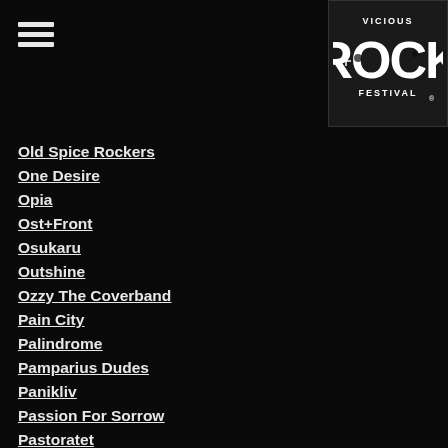[Figure (logo): Vicious Rock Festival logo in white on dark background]
Old Spice Rockers
One Desire
Opia
Ost+Front
Osukaru
Outshine
Ozzy The Coverband
Pain City
Palindrome
Pamparius Dudes
Panikliv
Passion For Sorrow
Pastoratet
Paul Dianno
Paulo Mendonca
Pectora
Perception of Darkness
Plan Three
Plantera
Pontus Snibb 3
Power Metal Night
Pretty Boy Floyd
Prime
Psycho Dogs